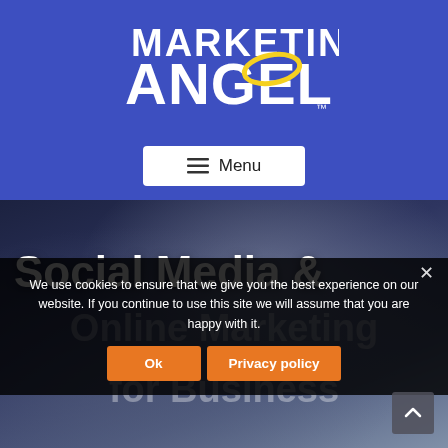[Figure (logo): Marketing Angel logo — white bold text 'MARKETING ANGEL' with a yellow halo ring over the G, on a blue background, with TM mark]
[Figure (screenshot): Menu button — white rounded rectangle with hamburger icon and 'Menu' text on blue background]
[Figure (photo): Dark hero photo background showing a blurred person, with large white text 'Social Media &' and faded text 'Online Marketing for Business']
We use cookies to ensure that we give you the best experience on our website. If you continue to use this site we will assume that you are happy with it.
Ok   Privacy policy